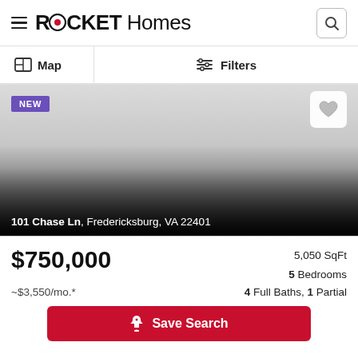ROCKET Homes
Map   Filters
[Figure (photo): Listing photo area with NEW badge and heart icon. Address overlay at bottom: 101 Chase Ln, Fredericksburg, VA 22401]
$750,000  5,050 SqFt  5 Bedrooms  ~$3,550/mo.*  4 Full Baths, 1 Partial
Save Search